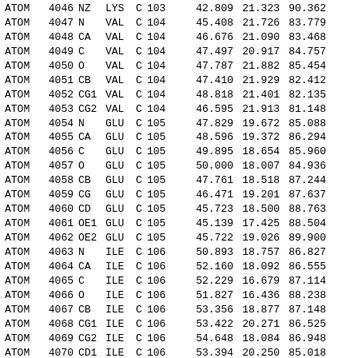| Record | Serial | Name | Res | Chain | SeqNum | X | Y | Z |
| --- | --- | --- | --- | --- | --- | --- | --- | --- |
| ATOM | 4046 | NZ | LYS | C | 103 | 42.809 | 21.323 | 90.362 |
| ATOM | 4047 | N | VAL | C | 104 | 45.408 | 21.726 | 83.779 |
| ATOM | 4048 | CA | VAL | C | 104 | 46.676 | 21.090 | 83.468 |
| ATOM | 4049 | C | VAL | C | 104 | 47.497 | 20.917 | 84.757 |
| ATOM | 4050 | O | VAL | C | 104 | 47.787 | 21.882 | 85.454 |
| ATOM | 4051 | CB | VAL | C | 104 | 47.410 | 21.929 | 82.412 |
| ATOM | 4052 | CG1 | VAL | C | 104 | 48.818 | 21.401 | 82.135 |
| ATOM | 4053 | CG2 | VAL | C | 104 | 46.595 | 21.913 | 81.148 |
| ATOM | 4054 | N | GLU | C | 105 | 47.829 | 19.672 | 85.088 |
| ATOM | 4055 | CA | GLU | C | 105 | 48.596 | 19.372 | 86.294 |
| ATOM | 4056 | C | GLU | C | 105 | 49.895 | 18.654 | 85.960 |
| ATOM | 4057 | O | GLU | C | 105 | 50.000 | 18.007 | 84.936 |
| ATOM | 4058 | CB | GLU | C | 105 | 47.761 | 18.518 | 87.244 |
| ATOM | 4059 | CG | GLU | C | 105 | 46.471 | 19.201 | 87.637 |
| ATOM | 4060 | CD | GLU | C | 105 | 45.723 | 18.500 | 88.763 |
| ATOM | 4061 | OE1 | GLU | C | 105 | 45.139 | 17.425 | 88.504 |
| ATOM | 4062 | OE2 | GLU | C | 105 | 45.722 | 19.026 | 89.900 |
| ATOM | 4063 | N | ILE | C | 106 | 50.893 | 18.757 | 86.827 |
| ATOM | 4064 | CA | ILE | C | 106 | 52.160 | 18.092 | 86.555 |
| ATOM | 4065 | C | ILE | C | 106 | 52.229 | 16.679 | 87.114 |
| ATOM | 4066 | O | ILE | C | 106 | 51.827 | 16.436 | 88.238 |
| ATOM | 4067 | CB | ILE | C | 106 | 53.356 | 18.877 | 87.148 |
| ATOM | 4068 | CG1 | ILE | C | 106 | 53.422 | 20.271 | 86.525 |
| ATOM | 4069 | CG2 | ILE | C | 106 | 54.648 | 18.084 | 86.948 |
| ATOM | 4070 | CD1 | ILE | C | 106 | 53.394 | 20.250 | 85.018 |
| ATOM | 4071 | N | LYS | C | 107 | 52.715 | 15.742 | 86.313 |
| ATOM | 4072 | CA | LYS | C | 107 | 52.883 | 14.381 | 86.791 |
| ATOM | 4073 | C | LYS | C | 107 | 54.378 | 14.277 | 87.029 |
| ATOM | 4074 | O | LYS | C | 107 | 55.170 | 14.426 | 86.098 |
| ATOM | 4075 | CB | LYS | C | 107 | 52.437 | 13.338 | 85.757 |